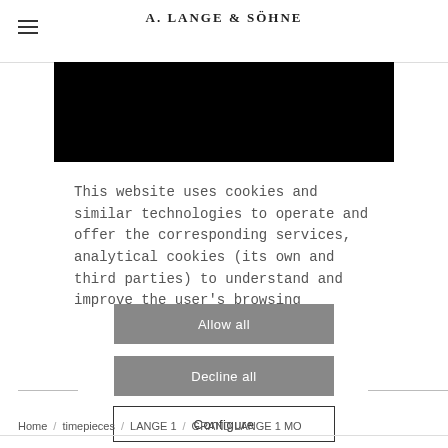A. LANGE & SÖHNE
[Figure (photo): Black rectangular hero image banner]
This website uses cookies and similar technologies to operate and offer the corresponding services, analytical cookies (its own and third parties) to understand and improve the user's browsing
Allow all
Decline all
Configure
Home / Timepieces / LANGE 1 / GRAND LANGE 1 MO